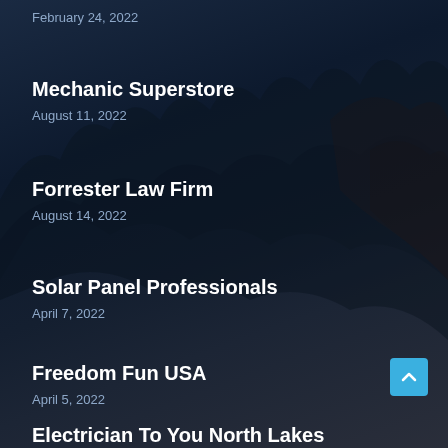February 24, 2022
Mechanic Superstore
August 11, 2022
Forrester Law Firm
August 14, 2022
Solar Panel Professionals
April 7, 2022
Freedom Fun USA
April 5, 2022
Electrician To You North Lakes